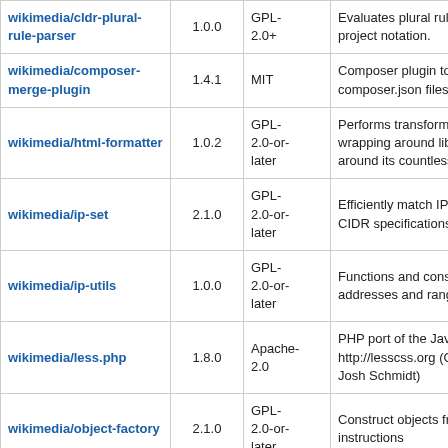| Package | Version | License | Description |
| --- | --- | --- | --- |
| wikimedia/cldr-plural-rule-parser | 1.0.0 | GPL-2.0+ | Evaluates plural rules sp project notation. |
| wikimedia/composer-merge-plugin | 1.4.1 | MIT | Composer plugin to merge composer.json files |
| wikimedia/html-formatter | 1.0.2 | GPL-2.0-or-later | Performs transformations wrapping around libxml2 around its countless bug |
| wikimedia/ip-set | 2.1.0 | GPL-2.0-or-later | Efficiently match IP addr of CIDR specifications. |
| wikimedia/ip-utils | 1.0.0 | GPL-2.0-or-later | Functions and constants addresses and ranges |
| wikimedia/less.php | 1.8.0 | Apache-2.0 | PHP port of the Javascri http://lesscss.org (Origi Josh Schmidt) |
| wikimedia/object-factory | 2.1.0 | GPL-2.0-or-later | Construct objects from c instructions |